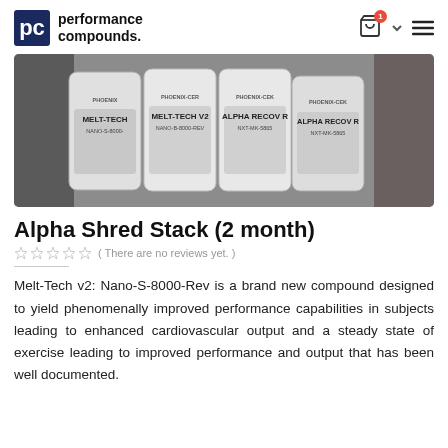performance compounds.
[Figure (photo): Four glass vials labeled PHOENIX-CER with product names MELT-TECH, MELT-TECH V2, ALPHA RECOV R and ALPHA RECOV R with compound codes NANO-S-8000 and NXT-MK-5865]
Alpha Shred Stack (2 month)
( There are no reviews yet. )
Melt-Tech v2: Nano-S-8000-Rev is a brand new compound designed to yield phenomenally improved performance capabilities in subjects leading to enhanced cardiovascular output and a steady state of exercise leading to improved performance and output that has been well documented.